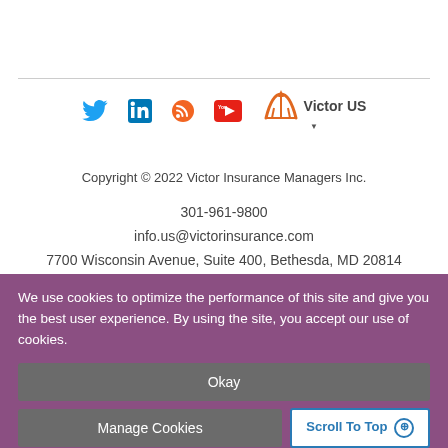[Figure (logo): Victor Insurance social media icons (Twitter, LinkedIn, RSS, YouTube) and Victor US logo with orange arch icon and dropdown arrow]
Copyright © 2022 Victor Insurance Managers Inc.
301-961-9800
info.us@victorinsurance.com
7700 Wisconsin Avenue, Suite 400, Bethesda, MD 20814
Contact Us
Site Map
We use cookies to optimize the performance of this site and give you the best user experience. By using the site, you accept our use of cookies.
Okay
Manage Cookies
Scroll To Top ⊕